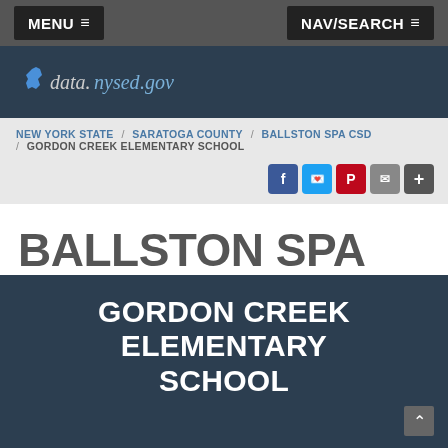MENU ≡  |  NAV/SEARCH ≡
[Figure (logo): data.nysed.gov logo with New York state icon]
NEW YORK STATE / SARATOGA COUNTY / BALLSTON SPA CSD / GORDON CREEK ELEMENTARY SCHOOL
BALLSTON SPA CSD
2020-21 School Year Financial Transparency Report
GORDON CREEK ELEMENTARY SCHOOL